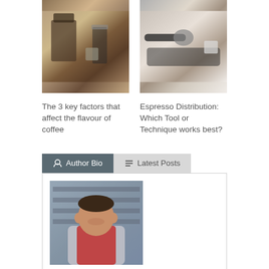[Figure (photo): Coffee bag, French press, and mug on a wooden table with a dark cloth]
[Figure (photo): Espresso portafilter and small cup on a dark tray]
The 3 key factors that affect the flavour of coffee
Espresso Distribution: Which Tool or Technique works best?
Author Bio
Latest Posts
[Figure (photo): Man in red t-shirt and grey hoodie with arms crossed, smiling, in front of shelving]